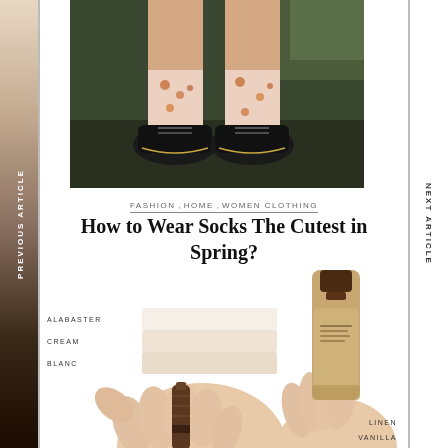[Figure (photo): Photo of person's legs from knee down wearing sheer floral socks and black Oxford shoes, standing on dark ground]
FASHION , HOME , WOMEN CLOTHING
How to Wear Socks The Cutest in Spring?
[Figure (photo): Hands swatching foundation shades on wrist labeled ALABASTER, CREAM, BLANC on the left; right hand holding a foundation bottle. Labels LINEN and VANILLA visible at bottom right.]
PREVIOUS ARTICLE
NEXT ARTICLE